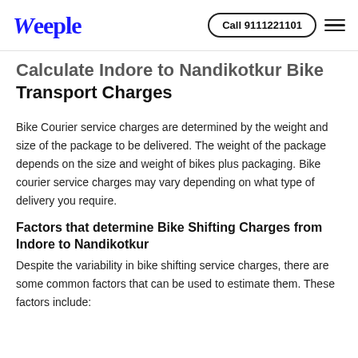Weeple   Call 9111221101
Calculate Indore to Nandikotkur Bike Transport Charges
Bike Courier service charges are determined by the weight and size of the package to be delivered. The weight of the package depends on the size and weight of bikes plus packaging. Bike courier service charges may vary depending on what type of delivery you require.
Factors that determine Bike Shifting Charges from Indore to Nandikotkur
Despite the variability in bike shifting service charges, there are some common factors that can be used to estimate them. These factors include: